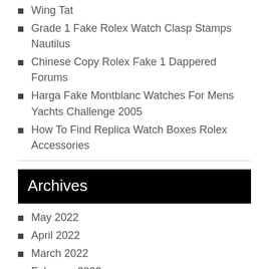Wing Tat
Grade 1 Fake Rolex Watch Clasp Stamps Nautilus
Chinese Copy Rolex Fake 1 Dappered Forums
Harga Fake Montblanc Watches For Mens Yachts Challenge 2005
How To Find Replica Watch Boxes Rolex Accessories
Archives
May 2022
April 2022
March 2022
February 2022
January 2022
December 2021
November 2021
October 2021
September 2021